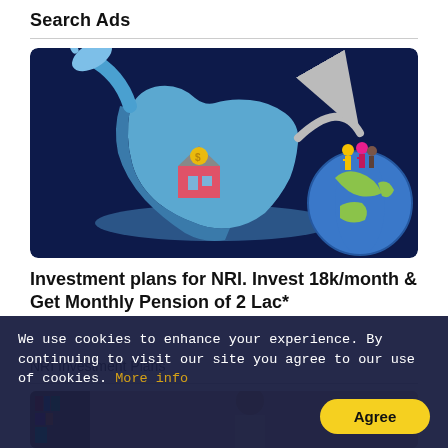Search Ads
[Figure (illustration): Illustration showing a hand dropping a coin into a house on a 3D map of India, with a curved arrow pointing to a couple standing on top of a globe, on a dark blue background.]
Investment plans for NRI. Invest 18k/month & Get Monthly Pension of 2 Lac*
NRI Investment Plans
[Figure (photo): Partial photo of a person, cropped, at the bottom of the page.]
We use cookies to enhance your experience. By continuing to visit our site you agree to our use of cookies. More info